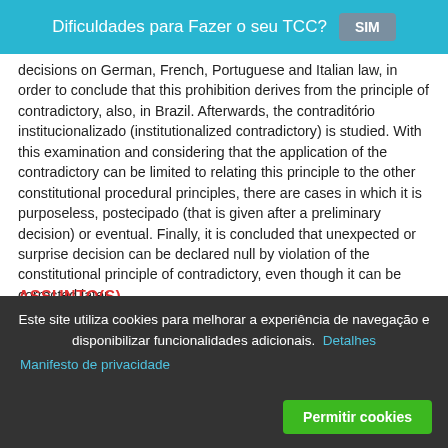Dificuldades para Fazer o seu TCC? SIM
decisions on German, French, Portuguese and Italian law, in order to conclude that this prohibition derives from the principle of contradictory, also, in Brazil. Afterwards, the contraditório institucionalizado (institutionalized contradictory) is studied. With this examination and considering that the application of the contradictory can be limited to relating this principle to the other constitutional procedural principles, there are cases in which it is purposeless, postecipado (that is given after a preliminary decision) or eventual. Finally, it is concluded that unexpected or surprise decision can be declared null by violation of the constitutional principle of contradictory, even though it can be corrected later
ASSUNTO(S)
[Figure (other): Tag icon and partially visible tag pills/labels at bottom of content area]
Este site utiliza cookies para melhorar a experiência de navegação e disponibilizar funcionalidades adicionais. Detalhes
Manifesto de privacidade
Permitir cookies